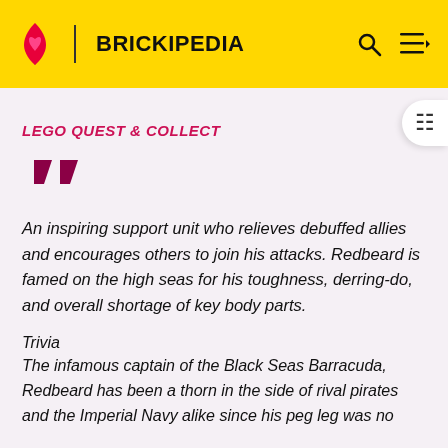BRICKIPEDIA
LEGO QUEST & COLLECT
An inspiring support unit who relieves debuffed allies and encourages others to join his attacks. Redbeard is famed on the high seas for his toughness, derring-do, and overall shortage of key body parts.
Trivia
The infamous captain of the Black Seas Barracuda, Redbeard has been a thorn in the side of rival pirates and the Imperial Navy alike since his peg leg was no